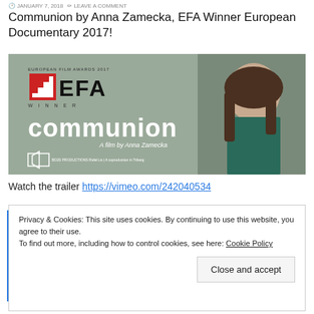JANUARY 7, 2018  LEAVE A COMMENT
Communion by Anna Zamecka, EFA Winner European Documentary 2017!
[Figure (photo): Film poster for 'Communion' by Anna Zamecka. Shows the European Film Awards 2017 EFA Winner logo on the left with a red square graphic, and the word 'communion' in large white text. Subtitle reads 'A film by Anna Zamecka'. Production company logo and credits at the bottom. Right side shows a young woman with long hair looking upward, against a grey background.]
Watch the trailer https://vimeo.com/242040534
Privacy & Cookies: This site uses cookies. By continuing to use this website, you agree to their use.
To find out more, including how to control cookies, see here: Cookie Policy
Close and accept